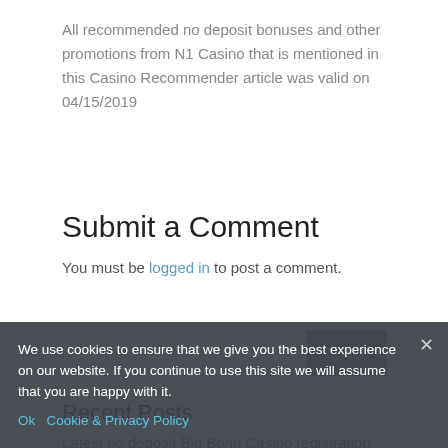All recommended no deposit bonuses and other promotions from N1 Casino that is mentioned in this Casino Recommender article was valid on 04/15/2019
Submit a Comment
You must be logged in to post a comment.
[Figure (screenshot): Search bar with text input field and Search button]
Recent Posts
Latest no deposit Big Bonu Casino registration bonus 35 Bonus spins
We use cookies to ensure that we give you the best experience on our website. If you continue to use this site we will assume that you are happy with it.
Ok   Cookie & Privacy Policy